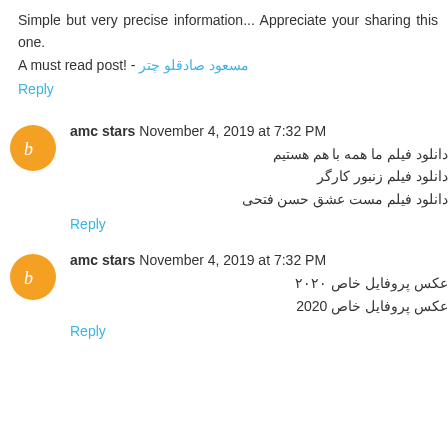Simple but very precise information... Appreciate your sharing this one.
A must read post! - مسعود صادقلو چتر
Reply
amc stars November 4, 2019 at 7:32 PM
دانلود فیلم ما همه با هم هستیم
دانلود فیلم زنبور کارگر
دانلود فیلم مست عشق حسن فتحی
Reply
amc stars November 4, 2019 at 7:32 PM
عکس پروفایل خاص ۲۰۲۰
عکس پروفایل خاص 2020
Reply